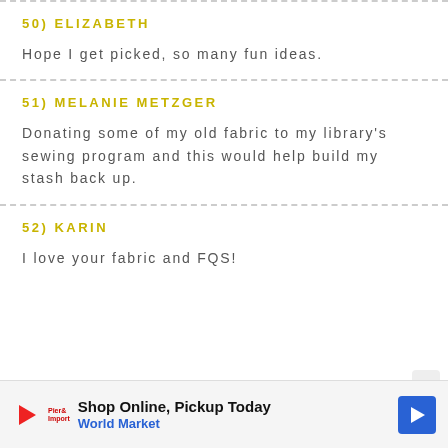50) ELIZABETH
Hope I get picked, so many fun ideas.
51) MELANIE METZGER
Donating some of my old fabric to my library's sewing program and this would help build my stash back up.
52) KARIN
I love your fabric and FQS!